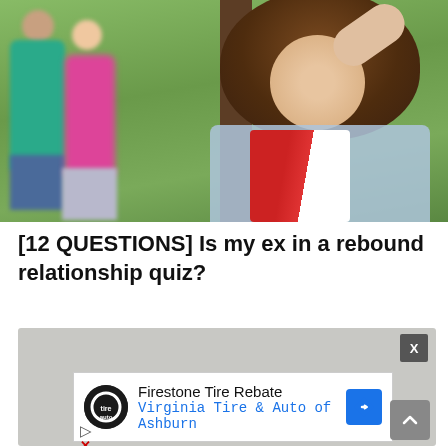[Figure (photo): A woman in the foreground looking distressed with her hand on her forehead, wearing a denim vest over a red and white striped shirt. In the blurred background, a man in teal shirt and a woman in pink are together near a tree in a park.]
[12 QUESTIONS] Is my ex in a rebound relationship quiz?
[Figure (screenshot): An advertisement banner for Firestone Tire Rebate from Virginia Tire & Auto of Ashburn, with a close (X) button, play button, and X (close ad) markers. A scroll-up arrow button is on the bottom right.]